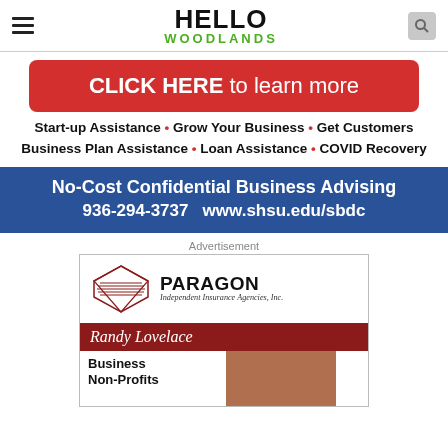HELLO WOODLANDS
[Figure (infographic): Red rounded rectangle button reading CLICK HERE to learn more]
Start-up Assistance • Grow Your Business • Get Customers Business Plan Assistance • Loan Assistance • COVID Recovery
[Figure (infographic): Blue banner: No-Cost Confidential Business Advising 936-294-3737 www.shsu.edu/sbdc]
Advertisement
[Figure (infographic): Paragon Independent Insurance Agencies, Inc. ad featuring Randy Lovelace, Business Non-Profits]